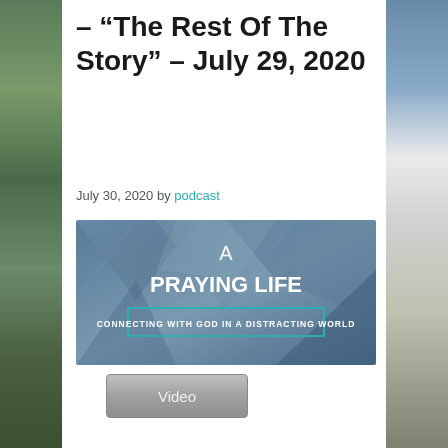– “The Rest Of The Story” – July 29, 2020
July 30, 2020 by podcast
[Figure (photo): A Praying Life – Connecting with God in a Distracting World. Book/sermon series cover image with geometric abstract blue-grey background.]
Video